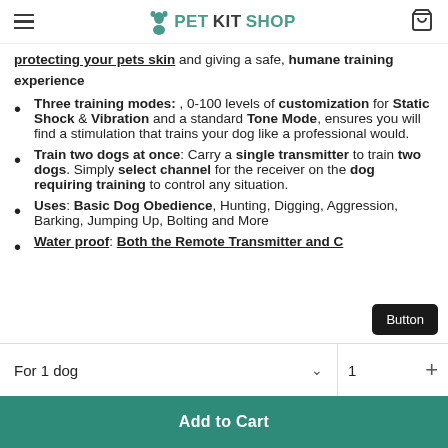PETKITSHOP
protecting your pets skin and giving a safe, humane training experience
Three training modes: , 0-100 levels of customization for Static Shock & Vibration and a standard Tone Mode, ensures you will find a stimulation that trains your dog like a professional would.
Train two dogs at once: Carry a single transmitter to train two dogs. Simply select channel for the receiver on the dog requiring training to control any situation.
Uses: Basic Dog Obedience, Hunting, Digging, Aggression, Barking, Jumping Up, Bolting and More
Water proof: Both the Remote Transmitter and C...
Button
For 1 dog   1
Add to Cart